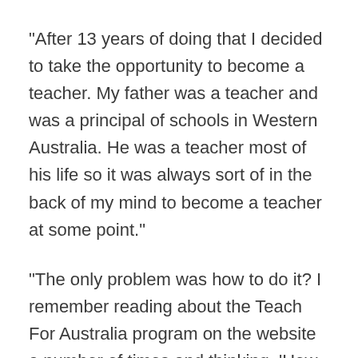“After 13 years of doing that I decided to take the opportunity to become a teacher. My father was a teacher and was a principal of schools in Western Australia. He was a teacher most of his life so it was always sort of in the back of my mind to become a teacher at some point.”
“The only problem was how to do it? I remember reading about the Teach For Australia program on the website a number of times and thinking, ‘How would I do that?’ and it took me a year to figure out how to make it happen.”
Making it happen meant a stint in Horsham and